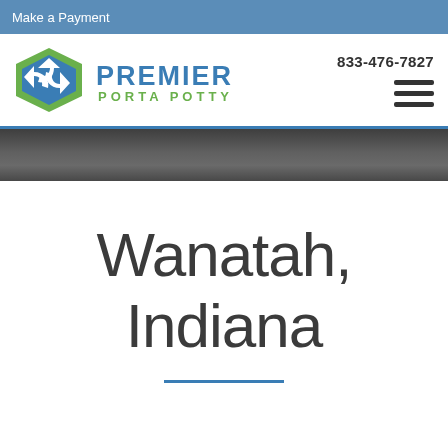Make a Payment
[Figure (logo): Premier Porta Potty logo with recycling arrow icon and company name]
833-476-7827
[Figure (other): Hamburger menu icon with three horizontal bars]
[Figure (photo): Dark textured hero band image]
Wanatah, Indiana